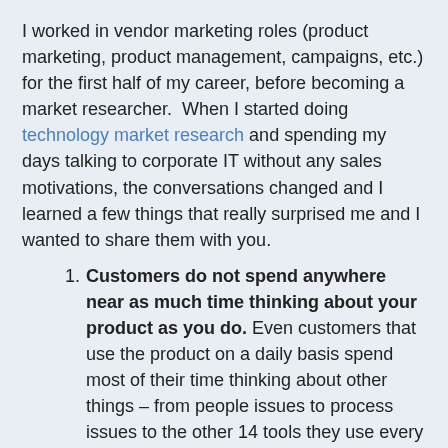I worked in vendor marketing roles (product marketing, product management, campaigns, etc.) for the first half of my career, before becoming a market researcher.  When I started doing technology market research and spending my days talking to corporate IT without any sales motivations, the conversations changed and I learned a few things that really surprised me and I wanted to share them with you.
Customers do not spend anywhere near as much time thinking about your product as you do. Even customers that use the product on a daily basis spend most of their time thinking about other things – from people issues to process issues to the other 14 tools they use every day.  They really appreciate it when you make your product and messages